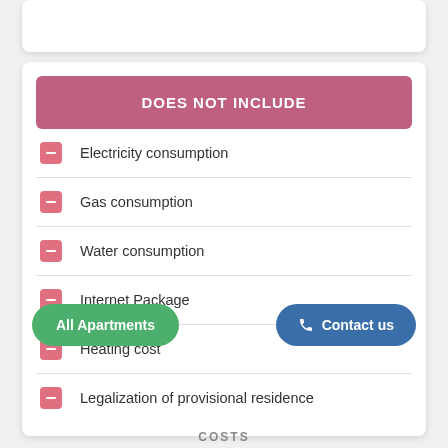DOES NOT INCLUDE
Electricity consumption
Gas consumption
Water consumption
Internet Package
Heating cost
Legalization of provisional residence
All Apartments
Contact us
COSTS